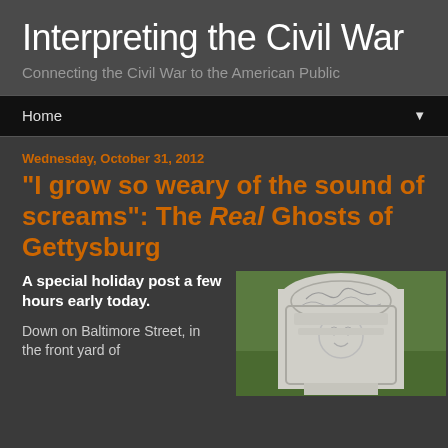Interpreting the Civil War
Connecting the Civil War to the American Public
Home
Wednesday, October 31, 2012
"I grow so weary of the sound of screams": The Real Ghosts of Gettysburg
A special holiday post a few hours early today.
Down on Baltimore Street, in the front yard of
[Figure (photo): A gravestone with decorative carved design, set against green grass background]